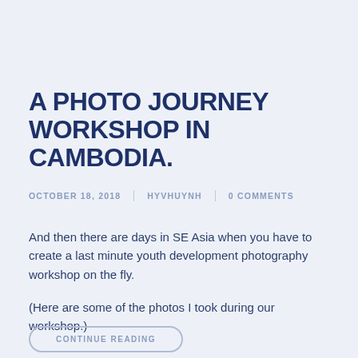A PHOTO JOURNEY WORKSHOP IN CAMBODIA.
OCTOBER 18, 2018 | HYVHUYNH | 0 COMMENTS
And then there are days in SE Asia when you have to create a last minute youth development photography workshop on the fly.
(Here are some of the photos I took during our workshop.)
CONTINUE READING